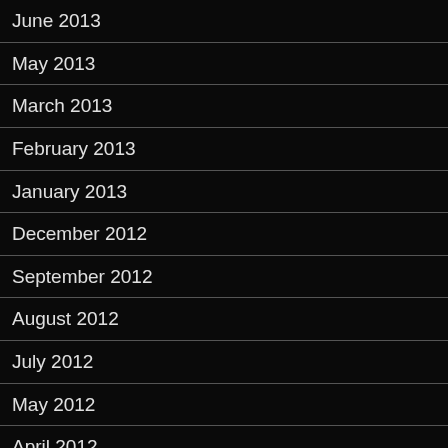June 2013
May 2013
March 2013
February 2013
January 2013
December 2012
September 2012
August 2012
July 2012
May 2012
April 2012
March 2012
February 2012